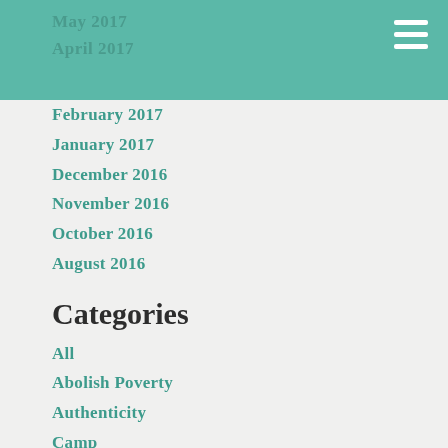May 2017
April 2017
February 2017
January 2017
December 2016
November 2016
October 2016
August 2016
Categories
All
Abolish Poverty
Authenticity
Camp
Christmas
Christms
Community
Confirmation
Develop Disciples To Serve
Education